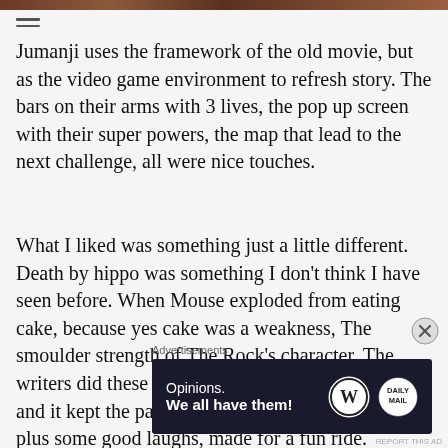[Figure (photo): Top strip of a movie/image banner, partially cropped]
Jumanji uses the framework of the old movie, but as the video game environment to refresh story. The bars on their arms with 3 lives, the pop up screen with their super powers, the map that lead to the next challenge, all were nice touches.
What I liked was something just a little different. Death by hippo was something I don't think I have seen before. When Mouse exploded from eating cake, because yes cake was a weakness, The smoulder strength of The Rock's character. The writers did these little pieces throughout the movie, and it kept the pace of the film moving along. This plus some good laughs, made for a fun ride.
Advertisements
[Figure (other): Advertisement banner: Opinions. We all have them! with WordPress and Daily Mail logos on dark navy background]